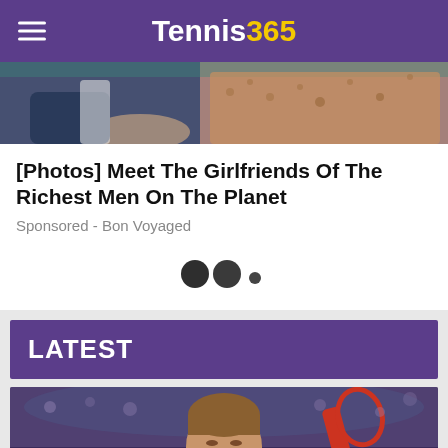Tennis365
[Figure (photo): Partial photo of two people sitting, one in dark suit, other in patterned top, cropped at top of page]
[Photos] Meet The Girlfriends Of The Richest Men On The Planet
Sponsored - Bon Voyaged
[Figure (other): Loading dots indicator: two large dark circles and one small dot]
LATEST
[Figure (photo): Photo of a male tennis player looking upward, holding a racket, in an indoor arena setting]